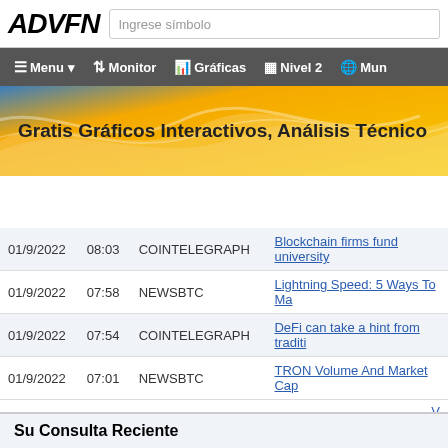ADVFN
[Figure (screenshot): ADVFN website navigation bar with Menu, Monitor, Gráficas, Nivel 2, Mun options]
[Figure (infographic): Banner with blue and gold gradient waves and text: Gratis Gráficos Interactivos, Análisis Técnico]
| Date | Time | Source | Headline |
| --- | --- | --- | --- |
| 01/9/2022 | 08:03 | COINTELEGRAPH | Blockchain firms fund university |
| 01/9/2022 | 07:58 | NEWSBTC | Lightning Speed: 5 Ways To Ma |
| 01/9/2022 | 07:54 | COINTELEGRAPH | DeFi can take a hint from traditi |
| 01/9/2022 | 07:01 | NEWSBTC | TRON Volume And Market Cap |
Su Consulta Reciente